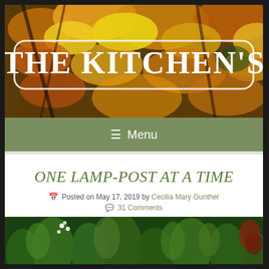[Figure (photo): Autumn leaves banner image with yellow and brown foliage. Overlaid with rounded rectangle containing text 'THE KITCHEN'S' in large white serif font.]
≡ Menu
ONE LAMP-POST AT A TIME
Posted on May 17, 2019 by Cecilia Mary Gunther
31 Comments
[Figure (photo): Partial view of green garden plants at the bottom of the page.]